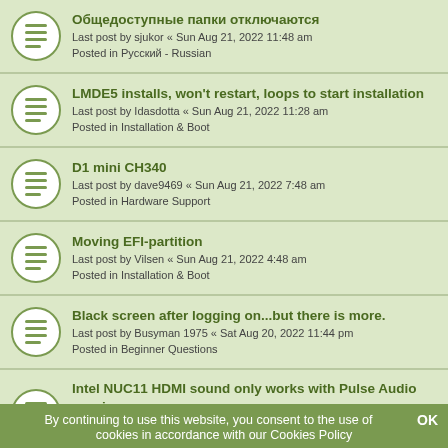Общедоступные папки отключаются
Last post by sjukor « Sun Aug 21, 2022 11:48 am
Posted in Русский - Russian
LMDE5 installs, won't restart, loops to start installation
Last post by Idasdotta « Sun Aug 21, 2022 11:28 am
Posted in Installation & Boot
D1 mini CH340
Last post by dave9469 « Sun Aug 21, 2022 7:48 am
Posted in Hardware Support
Moving EFI-partition
Last post by Vilsen « Sun Aug 21, 2022 4:48 am
Posted in Installation & Boot
Black screen after logging on...but there is more.
Last post by Busyman 1975 « Sat Aug 20, 2022 11:44 pm
Posted in Beginner Questions
Intel NUC11 HDMI sound only works with Pulse Audio running
Last post by nucman « Sat Aug 20, 2022 8:37 pm
Posted in Sound
Hot key in KMyMoney Ledger
Last post by GELvdH « Sat Aug 20, 2022 5:45 pm
Posted in Software & Applications
Проблемы с клавишами регулировки громкости
(partial)
By continuing to use this website, you consent to the use of cookies in accordance with our Cookies Policy
OK